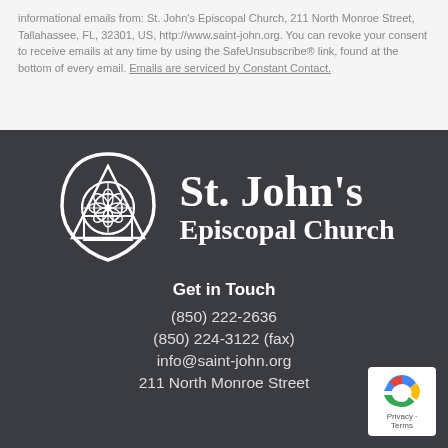informational emails from: St. John's Episcopal Church, 211 North Monroe Street, Tallahassee, FL, 32301, US, http://www.saint-john.org. You can revoke your consent to receive emails at any time by using the SafeUnsubscribe® link, found at the bottom of every email. Emails are serviced by Constant Contact.
[Figure (logo): St. John's Episcopal Church logo: a white gothic arch with a circular rose window design, next to the text 'St. John's Episcopal Church' in white serif font on dark background]
Get in Touch
(850) 222-2636
(850) 224-3122 (fax)
info@saint-john.org
211 North Monroe Street